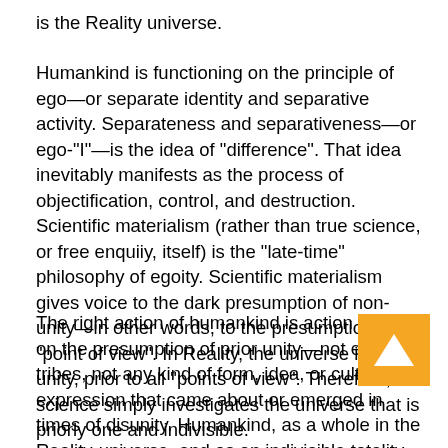is the Reality universe.
Humankind is functioning on the principle of ego—or separate identity and separative activity. Separateness and separativeness—or ego-"I"—is the idea of "difference". That idea inevitably manifests as the process of objectification, control, and destruction. Scientific materialism (rather than true science, or free enquiiy, itself) is the "late-time" philosophy of egoity. Scientific materialism gives voice to the dark presumption of non-unity—in other words, to the presumption of "point of view". In Reality, the universe is a prior unity, prior to all "points of view". Therefore, true science simply investigates the universe that is priorly one and indivisible.
The right action of humankind is action based on the presumption of prior unity—not ego, not tribes, not any kind of form, idea, or cultural expression that came about or emerged in times of disunity. Humankind, as a whole in the Reality-universe, and as an indivisible totality that